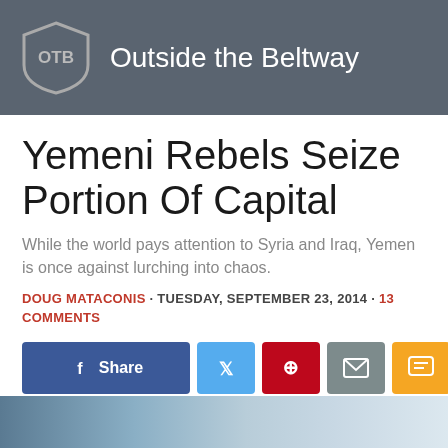Outside the Beltway
Yemeni Rebels Seize Portion Of Capital
While the world pays attention to Syria and Iraq, Yemen is once against lurching into chaos.
DOUG MATACONIS · TUESDAY, SEPTEMBER 23, 2014 · 13 COMMENTS
[Figure (other): Social share buttons: Facebook Share, Twitter, Pinterest, Email, SMS, Share]
[Figure (photo): Partial bottom image of a cityscape or outdoor scene]